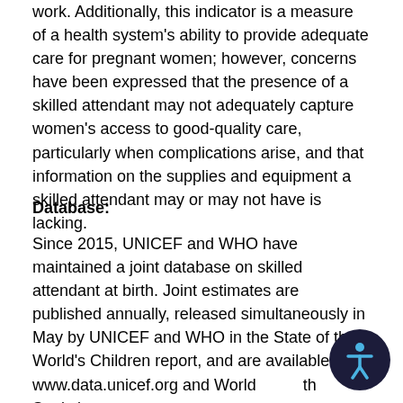work. Additionally, this indicator is a measure of a health system's ability to provide adequate care for pregnant women; however, concerns have been expressed that the presence of a skilled attendant may not adequately capture women's access to good-quality care, particularly when complications arise, and that information on the supplies and equipment a skilled attendant may or may not have is lacking.
Database:
Since 2015, UNICEF and WHO have maintained a joint database on skilled attendant at birth. Joint estimates are published annually, released simultaneously in May by UNICEF and WHO in the State of the World's Children report, and are available at www.data.unicef.org and World Health Statistics (http://www.who.int/whosis/whostat/en) respectively. As skilled attendance at delivery is an SD... indicator, it is the the...